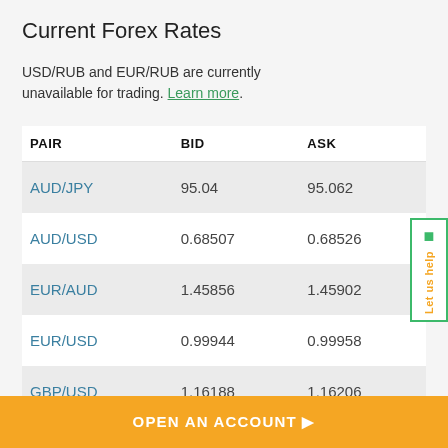Current Forex Rates
USD/RUB and EUR/RUB are currently unavailable for trading. Learn more.
| PAIR | BID | ASK |
| --- | --- | --- |
| AUD/JPY | 95.04 | 95.062 |
| AUD/USD | 0.68507 | 0.68526 |
| EUR/AUD | 1.45856 | 1.45902 |
| EUR/USD | 0.99944 | 0.99958 |
| GBP/USD | 1.16188 | 1.16206 |
OPEN AN ACCOUNT ▶